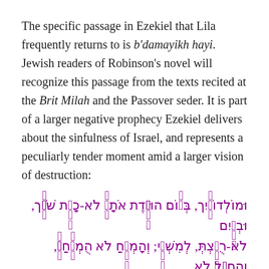The specific passage in Ezekiel that Lila frequently returns to is b'damayikh hayi. Jewish readers of Robinson's novel will recognize this passage from the texts recited at the Brit Milah and the Passover seder. It is part of a larger negative prophecy Ezekiel delivers about the sinfulness of Israel, and represents a peculiarly tender moment amid a larger vision of destruction:
ומולדותיך, ביום הולדת אותך לא-כרת שרך, ובמים לא-רחצת, למשעי; והמלח לא המלחת, והחתל לא חתלת. לא-חסה עליך עין, לעשות לך אחת מאלה–לחמלה עליך; ותשלכי אל-פני השדה, בגעל נפשך, ביום, הלדת אתך. ואעבר עליך ואראך,